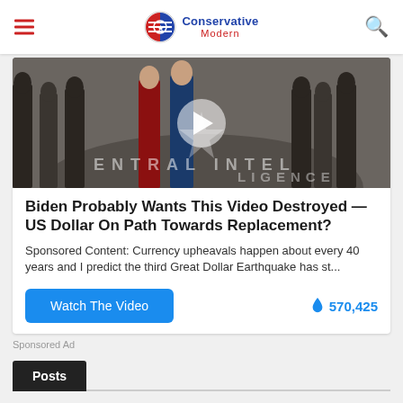Conservative Modern
[Figure (screenshot): Video thumbnail showing people standing on CIA headquarters lobby floor with CIA seal, with a play button overlay]
Biden Probably Wants This Video Destroyed — US Dollar On Path Towards Replacement?
Sponsored Content: Currency upheavals happen about every 40 years and I predict the third Great Dollar Earthquake has st...
Watch The Video   🔥 570,425
Sponsored Ad
Posts
Exhaustive Study Of German Mortality